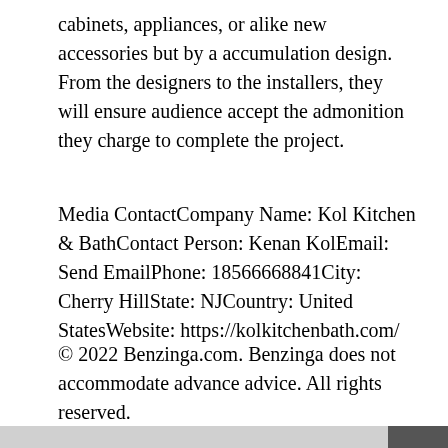cabinets, appliances, or alike new accessories but by a accumulation design. From the designers to the installers, they will ensure audience accept the admonition they charge to complete the project.
Media ContactCompany Name: Kol Kitchen & BathContact Person: Kenan KolEmail: Send EmailPhone: 18566668841City: Cherry HillState: NJCountry: United StatesWebsite: https://kolkitchenbath.com/
© 2022 Benzinga.com. Benzinga does not accommodate advance advice. All rights reserved.